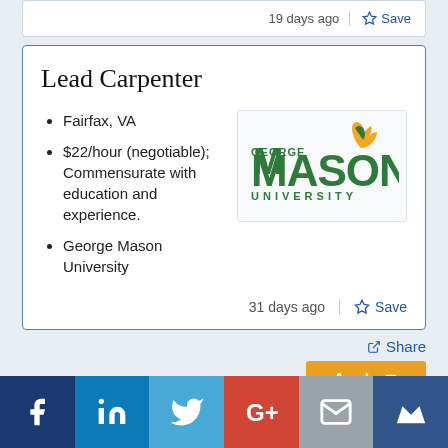19 days ago
Save
Lead Carpenter
Fairfax, VA
$22/hour (negotiable); Commensurate with education and experience.
George Mason University
[Figure (logo): George Mason University logo with green text and gold/green flame design]
31 days ago
Save
Share
Apply
[Figure (infographic): Social media sharing bar with Facebook, LinkedIn, Twitter, Google+, Email, and Mightybell icons]